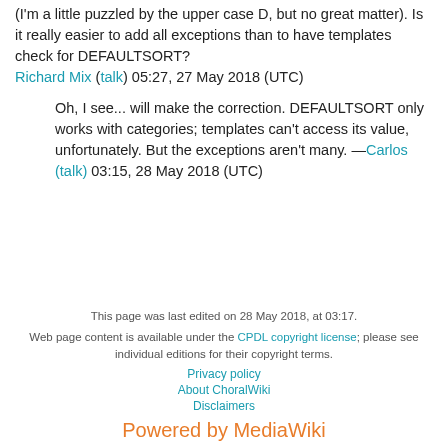(I'm a little puzzled by the upper case D, but no great matter). Is it really easier to add all exceptions than to have templates check for DEFAULTSORT? Richard Mix (talk) 05:27, 27 May 2018 (UTC)
Oh, I see... will make the correction. DEFAULTSORT only works with categories; templates can't access its value, unfortunately. But the exceptions aren't many. —Carlos (talk) 03:15, 28 May 2018 (UTC)
This page was last edited on 28 May 2018, at 03:17. Web page content is available under the CPDL copyright license; please see individual editions for their copyright terms. Privacy policy About ChoralWiki Disclaimers Powered by MediaWiki